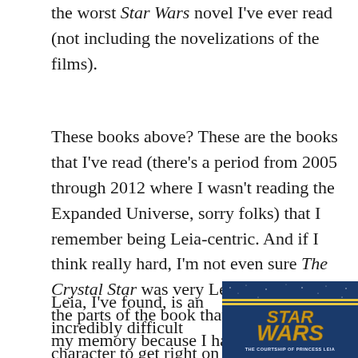the worst Star Wars novel I've ever read (not including the novelizations of the films).
These books above? These are the books that I've read (there's a period from 2005 through 2012 where I wasn't reading the Expanded Universe, sorry folks) that I remember being Leia-centric. And if I think really hard, I'm not even sure The Crystal Star was very Leia-centric: but the parts of the book that are seared in my memory because I hated them so much? All focused on Leia's plot line.
Leia, I've found, is an incredibly difficult character to get right on the page. I'm not
[Figure (photo): Book cover of Star Wars: The Courtship of Princess Leia, showing the Star Wars logo in gold letters on a blue starfield background with the subtitle 'THE COURTSHIP OF PRINCESS LEIA']